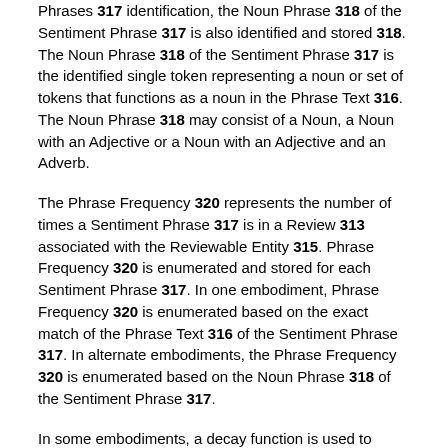Phrases 317 identification, the Noun Phrase 318 of the Sentiment Phrase 317 is also identified and stored 318. The Noun Phrase 318 of the Sentiment Phrase 317 is the identified single token representing a noun or set of tokens that functions as a noun in the Phrase Text 316. The Noun Phrase 318 may consist of a Noun, a Noun with an Adjective or a Noun with an Adjective and an Adverb.
The Phrase Frequency 320 represents the number of times a Sentiment Phrase 317 is in a Review 313 associated with the Reviewable Entity 315. Phrase Frequency 320 is enumerated and stored for each Sentiment Phrase 317. In one embodiment, Phrase Frequency 320 is enumerated based on the exact match of the Phrase Text 316 of the Sentiment Phrase 317. In alternate embodiments, the Phrase Frequency 320 is enumerated based on the Noun Phrase 318 of the Sentiment Phrase 317.
In some embodiments, a decay function is used to generate the Phrase Frequencies 320. The decay function is applied to Sentiment Phrases 317 that occur over a specified number of times (e.g. over three times). Any type of linear or non-linear decay function can be used to